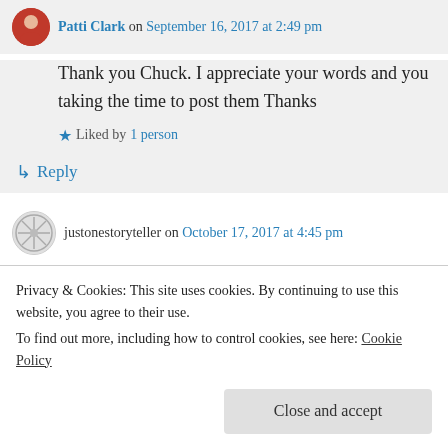Patti Clark on September 16, 2017 at 2:49 pm
Thank you Chuck. I appreciate your words and you taking the time to post them Thanks
Liked by 1 person
↳ Reply
justonestoryteller on October 17, 2017 at 4:45 pm
Thank you so much for finding me and following.
Privacy & Cookies: This site uses cookies. By continuing to use this website, you agree to their use.
To find out more, including how to control cookies, see here: Cookie Policy
Close and accept
over to your site. It's funny I was just praying